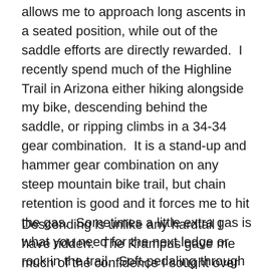allows me to approach long ascents in a seated position, while out of the saddle efforts are directly rewarded.  I recently spend much of the Highline Trail in Arizona either hiking alongside my bike, descending behind the saddle, or ripping climbs in a 34-34 gear combination.  It is a stand-up and hammer gear combination on any steep mountain bike trail, but chain retention is good and it forces me to hit the gas.  Sometimes a little extra gas is what you need for the next ledge or rock in the trail.  Soft-pedaling through challenging trail usually results in walking.  And yes, the portage handle is awesome.  I now have three useful hand positions for hauling the bike, each for a different kind of hike-a-bike.
Descending is unlike any hardtail I have ridden.  The Krampus gave me much of the confidence I sought over the chassis geometry of the Raleigh XXIX and its 29...